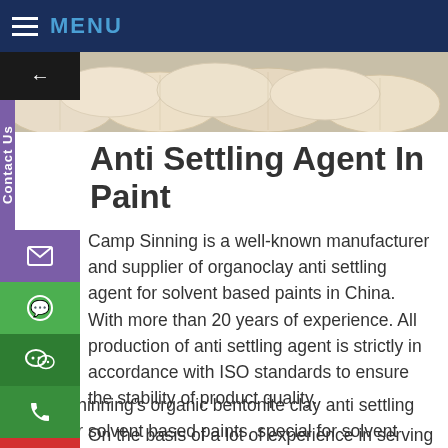MENU
[Figure (photo): Hero image showing white/cream cushions or pillows stacked together]
Anti Settling Agent In Paint
Camp Sinning is a well-known manufacturer and supplier of organoclay anti settling agent for solvent based paints in China. With more than 20 years of experience. All production of anti settling agent is strictly in accordance with ISO standards to ensure the stability of product quality.
On the basis of a lot of experience in serving paint, coating, and grease manufacturers, especially the cooperation with some of the world's top paint and coating manufacturers, Camp Shinning has accumulated reliable experience in producing high quality organic bentonite clay anti settling agent for solvent based paints.
Camp Shinning's organic bentonite clay anti settling agent for solvent based paints, special for solvent based paints